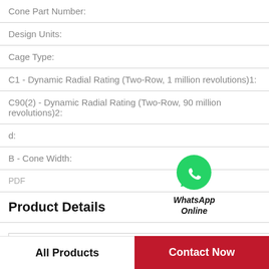Cone Part Number:
Design Units:
Cage Type:
C1 - Dynamic Radial Rating (Two-Row, 1 million revolutions)1:
C90(2) - Dynamic Radial Rating (Two-Row, 90 million revolutions)2:
d:
B - Cone Width:
PDF
Product Details
[Figure (logo): WhatsApp Online green phone bubble icon with text 'WhatsApp Online']
All Products
Contact Now